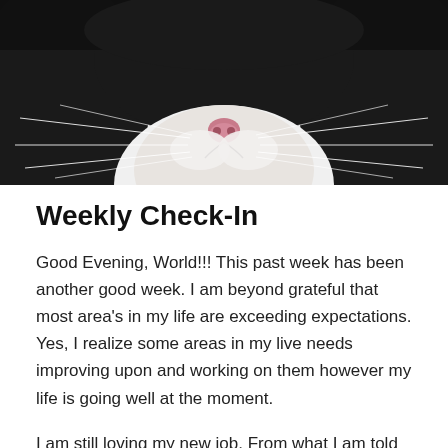[Figure (photo): Close-up photograph of a black and white cat's face, showing whiskers, nose, and fur — cropped to just the lower half of the face against a dark background.]
Weekly Check-In
Good Evening, World!!! This past week has been another good week. I am beyond grateful that most area's in my life are exceeding expectations. Yes, I realize some areas in my live needs improving upon and working on them however my life is going well at the moment.
I am still loving my new job. From what I am told from my supervisor, the clinical director and my colleagues, I am doing “an amazing job especially with folks who are in crisis.” I’m not sure if what I am doing is “amazing” as I am just doing my job. It is not the challenging to deal with